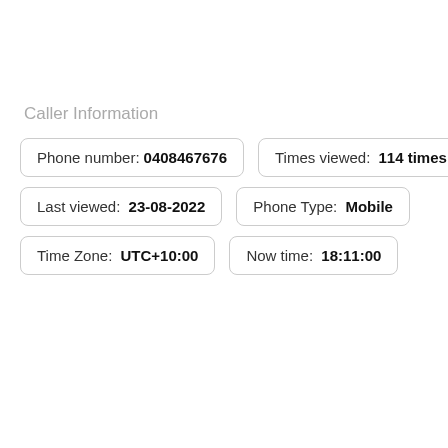Caller Information
Phone number: 0408467676
Times viewed: 114 times
Last viewed: 23-08-2022
Phone Type: Mobile
Time Zone: UTC+10:00
Now time: 18:11:00